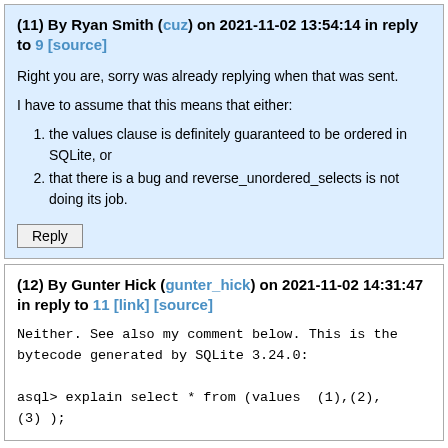(11) By Ryan Smith (cuz) on 2021-11-02 13:54:14 in reply to 9 [source]
Right you are, sorry was already replying when that was sent.
I have to assume that this means that either:
the values clause is definitely guaranteed to be ordered in SQLite, or
that there is a bug and reverse_unordered_selects is not doing its job.
Reply
(12) By Gunter Hick (gunter_hick) on 2021-11-02 14:31:47 in reply to 11 [link] [source]
Neither. See also my comment below. This is the bytecode generated by SQLite 3.24.0:
asql> explain select * from (values  (1),(2),(3) );